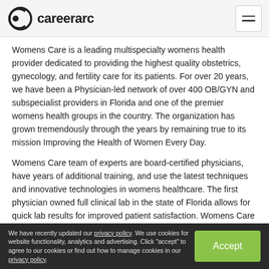careerarc
Womens Care is a leading multispecialty womens health provider dedicated to providing the highest quality obstetrics, gynecology, and fertility care for its patients. For over 20 years, we have been a Physician-led network of over 400 OB/GYN and subspecialist providers in Florida and one of the premier womens health groups in the country. The organization has grown tremendously through the years by remaining true to its mission Improving the Health of Women Every Day.
Womens Care team of experts are board-certified physicians, have years of additional training, and use the latest techniques and innovative technologies in womens healthcare. The first physician owned full clinical lab in the state of Florida allows for quick lab results for improved patient satisfaction. Womens Care is proudly inclusive and supports a diverse patient population.
We have recently updated our privacy policy. We use cookies for website functionality, analytics and advertising. Click "accept" to agree to our cookies or find out how to manage cookies in our privacy policy.